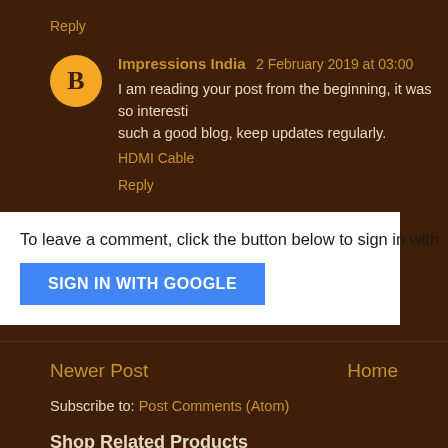Reply
Impressions India 2 February 2019 at 03:00
I am reading your post from the beginning, it was so interesting such a good blog, keep updates regularly.
HDMI Cable
Reply
To leave a comment, click the button below to sign in with
SIGN IN WITH GOOGLE
Newer Post
Home
Subscribe to: Post Comments (Atom)
Shop Related Products